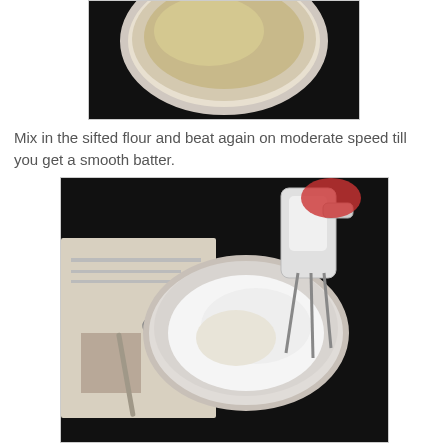[Figure (photo): Top portion of a bowl with batter/liquid, partially visible, dark background]
Mix in the sifted flour and beat again on moderate speed till you get a smooth batter.
[Figure (photo): Overhead view of a bowl with flour being mixed by an electric hand mixer, spoon on newspaper beside it, dark background]
Fold in the chocolate chips.
[Figure (photo): Partial view of a bowl from above, dark background, beginning of next step]